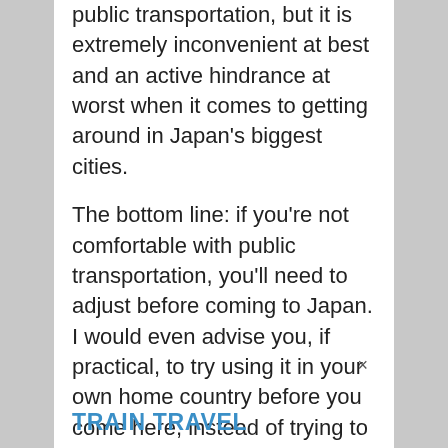public transportation, but it is extremely inconvenient at best and an active hindrance at worst when it comes to getting around in Japan's biggest cities.
The bottom line: if you're not comfortable with public transportation, you'll need to adjust before coming to Japan. I would even advise you, if practical, to try using it in your own home country before you come here, instead of trying to use it for the very first time in your life in a foreign country.
TRAIN TRAVEL